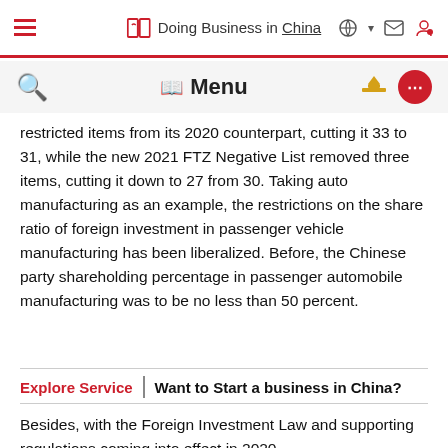Doing Business in China
restricted items from its 2020 counterpart, cutting it 33 to 31, while the new 2021 FTZ Negative List removed three items, cutting it down to 27 from 30. Taking auto manufacturing as an example, the restrictions on the share ratio of foreign investment in passenger vehicle manufacturing has been liberalized. Before, the Chinese party shareholding percentage in passenger automobile manufacturing was to be no less than 50 percent.
Explore Service | Want to Start a business in China?
Besides, with the Foreign Investment Law and supporting regulations coming into effect in 2020,